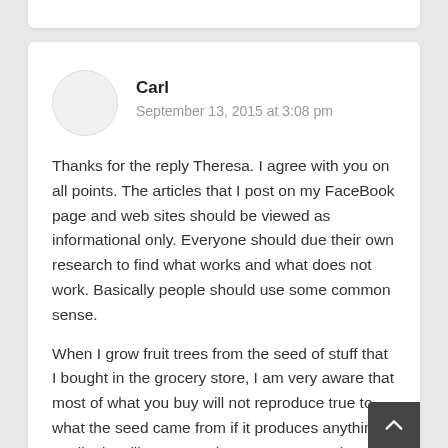Carl
September 13, 2015 at 3:08 pm
Thanks for the reply Theresa. I agree with you on all points. The articles that I post on my FaceBook page and web sites should be viewed as informational only. Everyone should due their own research to find what works and what does not work. Basically people should use some common sense.
When I grow fruit trees from the seed of stuff that I bought in the grocery store, I am very aware that most of what you buy will not reproduce true to what the seed came from if it produces anything at all. I just like to see what I can grow and at the very least I should get a nice tree and if it is viable I can always use it for root stock to graft something else on to.